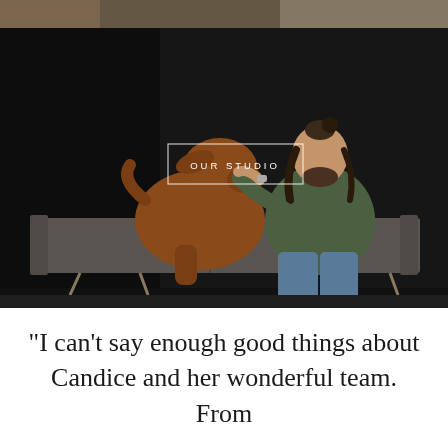[Figure (photo): A man with long dark hair in a bun, wearing a green sweater and jeans, sitting on a gray tufted sofa, nuzzling/kissing a large brown dog (Dogue de Bordeaux). Dark black background. A white rectangular button overlay reads 'OUR STUDIO' in spaced capital letters.]
"I can't say enough good things about Candice and her wonderful team. From